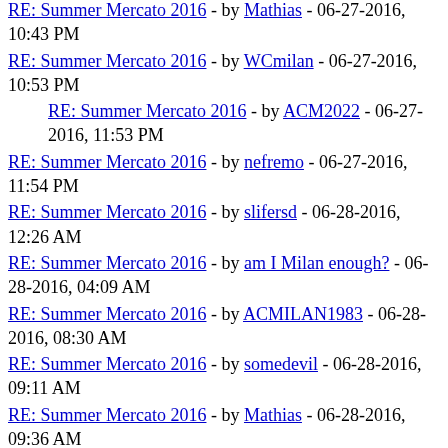RE: Summer Mercato 2016 - by Mathias - 06-27-2016, 10:43 PM
RE: Summer Mercato 2016 - by WCmilan - 06-27-2016, 10:53 PM
RE: Summer Mercato 2016 - by ACM2022 - 06-27-2016, 11:53 PM
RE: Summer Mercato 2016 - by nefremo - 06-27-2016, 11:54 PM
RE: Summer Mercato 2016 - by slifersd - 06-28-2016, 12:26 AM
RE: Summer Mercato 2016 - by am I Milan enough? - 06-28-2016, 04:09 AM
RE: Summer Mercato 2016 - by ACMILAN1983 - 06-28-2016, 08:30 AM
RE: Summer Mercato 2016 - by somedevil - 06-28-2016, 09:11 AM
RE: Summer Mercato 2016 - by Mathias - 06-28-2016, 09:36 AM
RE: Summer Mercato 2016 - by am I Milan enough? - 06-28-2016, 10:52 AM
RE: Summer Mercato 2016 - by Beppe - 06-28-2016, 11:48 AM
RE: Summer Mercato 2016 - by ACMILAN1983 - 06-28-2016, 12:16 PM
RE: Summer Mercato 2016 - by Beppe - 06-28-2016, 02:52 PM